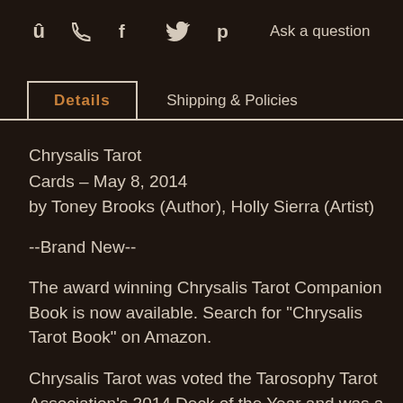f  t  p  Ask a question
Details  |  Shipping & Policies
Chrysalis Tarot
Cards – May 8, 2014
by Toney Brooks (Author), Holly Sierra (Artist)
--Brand New--
The award winning Chrysalis Tarot Companion Book is now available. Search for "Chrysalis Tarot Book" on Amazon.
Chrysalis Tarot was voted the Tarosophy Tarot Association's 2014 Deck of the Year and was a winner of a prestigious COVR 2015 Visionary Award and an International Tarot Association CARTA